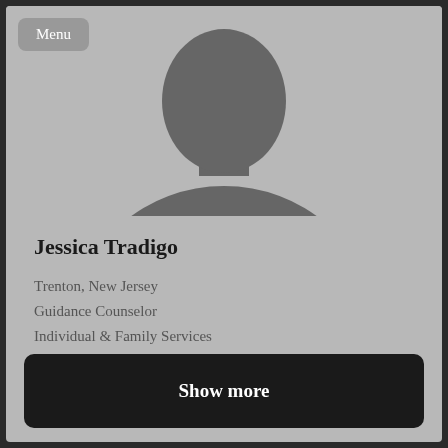[Figure (illustration): Generic user avatar silhouette — dark gray torso and head shape on a light gray background]
Jessica Tradigo
Trenton, New Jersey
Guidance Counselor
Individual & Family Services
Show more